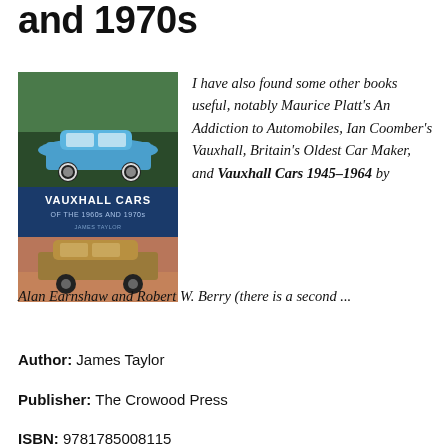and 1970s
[Figure (photo): Book cover of 'Vauxhall Cars of the 1960s and 1970s' by James Taylor, showing a blue Vauxhall car on top and a gold/brown Vauxhall car on the bottom, with title text overlay.]
I have also found some other books useful, notably Maurice Platt's An Addiction to Automobiles, Ian Coomber's Vauxhall, Britain's Oldest Car Maker, and Vauxhall Cars 1945–1964 by Alan Earnshaw and Robert W. Berry (there is a second ...
Author: James Taylor
Publisher: The Crowood Press
ISBN: 9781785008115